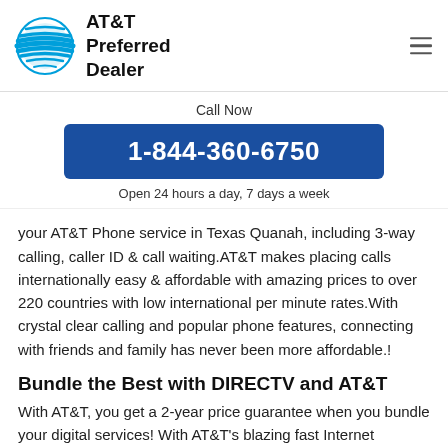AT&T Preferred Dealer
Call Now
1-844-360-6750
Open 24 hours a day, 7 days a week
your AT&T Phone service in Texas Quanah, including 3-way calling, caller ID & call waiting.AT&T makes placing calls internationally easy & affordable with amazing prices to over 220 countries with low international per minute rates.With crystal clear calling and popular phone features, connecting with friends and family has never been more affordable.!
Bundle the Best with DIRECTV and AT&T
With AT&T, you get a 2-year price guarantee when you bundle your digital services! With AT&T's blazing fast Internet bundled with DIRECTV, you stay connected to the entertainment you love in Texas Quanah. And the same goes for your TV channels...